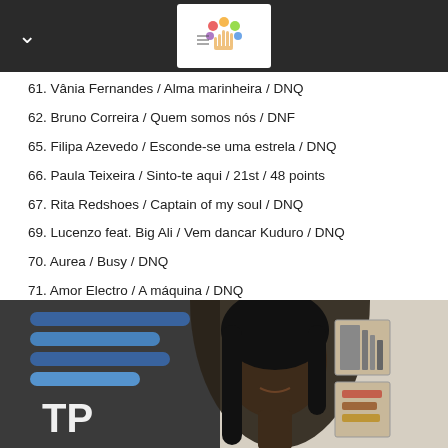Header bar with logo
61. Vânia Fernandes / Alma marinheira / DNQ
62. Bruno Correira / Quem somos nós / DNF
65. Filipa Azevedo / Esconde-se uma estrela / DNQ
66. Paula Teixeira / Sinto-te aqui / 21st / 48 points
67. Rita Redshoes / Captain of my soul / DNQ
69. Lucenzo feat. Big Ali / Vem dancar Kuduro / DNQ
70. Aurea / Busy / DNQ
71. Amor Electro / A máquina / DNQ
[Figure (photo): A woman smiling in front of a TP (RTP) backdrop with blue stripe logo and art on the wall behind her]